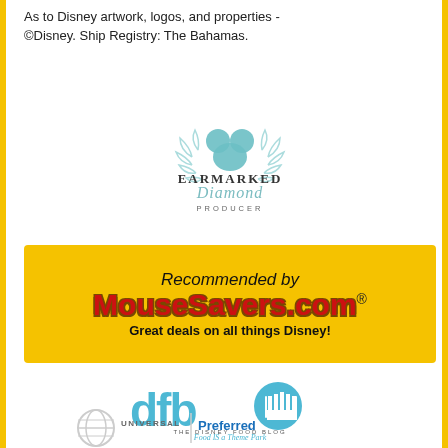As to Disney artwork, logos, and properties - ©Disney. Ship Registry: The Bahamas.
[Figure (logo): Earmarked Diamond Producer logo with Mickey ears wreath icon and stylized text]
[Figure (logo): MouseSavers.com banner - Recommended by MouseSavers.com - Great deals on all things Disney!]
[Figure (logo): DFB - The Disney Food Blog - Food IS a Theme Park logo]
[Figure (logo): Universal - Preferred logo (partially visible)]